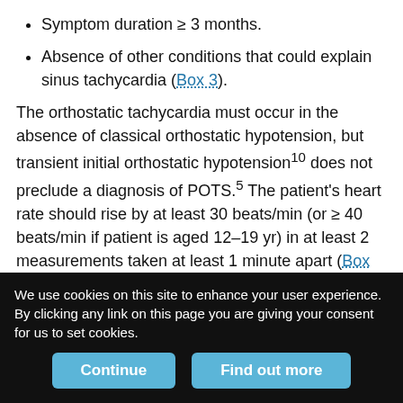Symptom duration ≥ 3 months.
Absence of other conditions that could explain sinus tachycardia (Box 3).
The orthostatic tachycardia must occur in the absence of classical orthostatic hypotension, but transient initial orthostatic hypotension10 does not preclude a diagnosis of POTS.5 The patient's heart rate should rise by at least 30 beats/min (or ≥ 40 beats/min if patient is aged 12–19 yr) in at least 2 measurements taken at least 1 minute apart (Box 2). The Canadian Cardiovascular Society statement5 set a minimum supine heart rate of 60 beats/min to prevent the diagnosis of POTS being made in a patient with a low resting heart rate that increases to a normal level on standing.
We use cookies on this site to enhance your user experience. By clicking any link on this page you are giving your consent for us to set cookies.